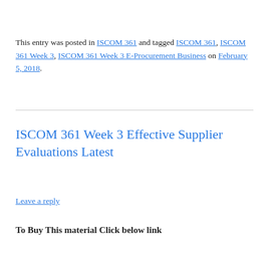This entry was posted in ISCOM 361 and tagged ISCOM 361, ISCOM 361 Week 3, ISCOM 361 Week 3 E-Procurement Business on February 5, 2018.
ISCOM 361 Week 3 Effective Supplier Evaluations Latest
Leave a reply
To Buy This material Click below link